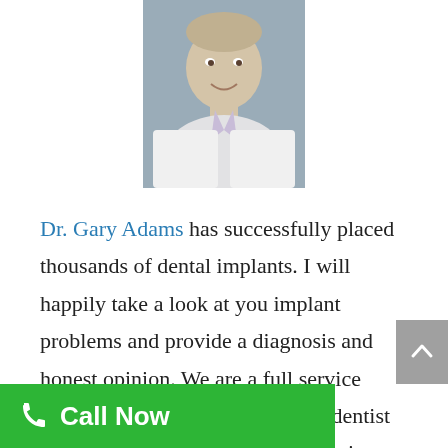[Figure (photo): Headshot photo of Dr. Gary Adams, a male dentist in a white lab coat, smiling, against a grey background]
Dr. Gary Adams has successfully placed thousands of dental implants. I will happily take a look at you implant problems and provide a diagnosis and honest opinion. We are a full service implant center and I am the only dentist you will need for you consultation in my office. We have a state of the art 3D Xray / imaging system specifically made lanning and diagnosis.